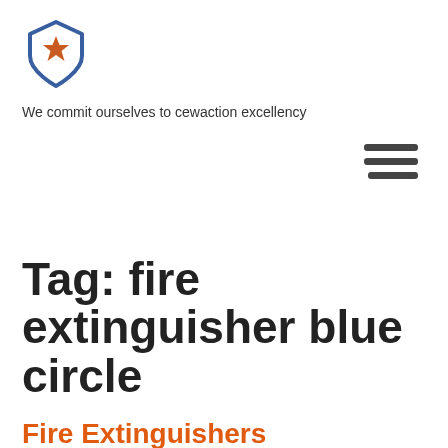[Figure (logo): Shield logo with a star in the center, blue outline]
We commit ourselves to cewaction excellency
[Figure (other): Hamburger menu icon, three horizontal dark lines]
Tag: fire extinguisher blue circle
Fire Extinguishers Assortment
Posted on May 14, 2022